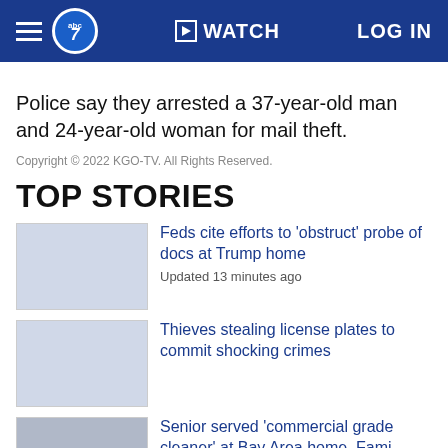abc7 | WATCH | LOG IN
Police say they arrested a 37-year-old man and 24-year-old woman for mail theft.
Copyright © 2022 KGO-TV. All Rights Reserved.
TOP STORIES
Feds cite efforts to 'obstruct' probe of docs at Trump home
Updated 13 minutes ago
Thieves stealing license plates to commit shocking crimes
Senior served 'commercial grade cleaner' at Bay Area home, Family...